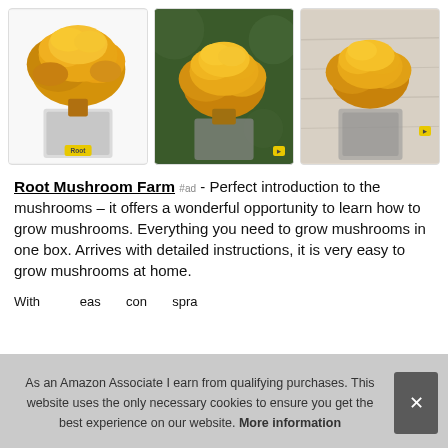[Figure (photo): Three product images of yellow oyster mushroom grow kits in clear plastic containers, each showing clusters of golden-yellow mushrooms, with brand badges visible]
Root Mushroom Farm #ad - Perfect introduction to the mushrooms – it offers a wonderful opportunity to learn how to grow mushrooms. Everything you need to grow mushrooms in one box. Arrives with detailed instructions, it is very easy to grow mushrooms at home.
With ... eas... con... spra...
As an Amazon Associate I earn from qualifying purchases. This website uses the only necessary cookies to ensure you get the best experience on our website. More information